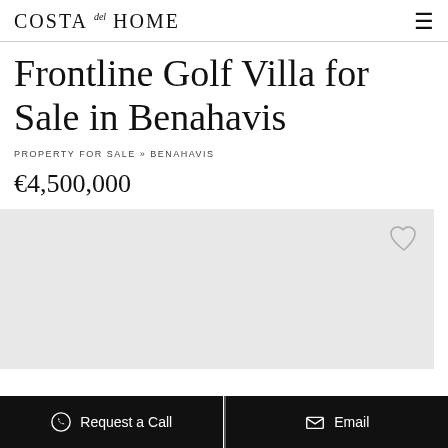Costa del Home
Frontline Golf Villa for Sale in Benahavis
PROPERTY FOR SALE » BENAHAVIS
€4,500,000
[Figure (other): Light grey image placeholder area for property photo]
Request a Call
Email